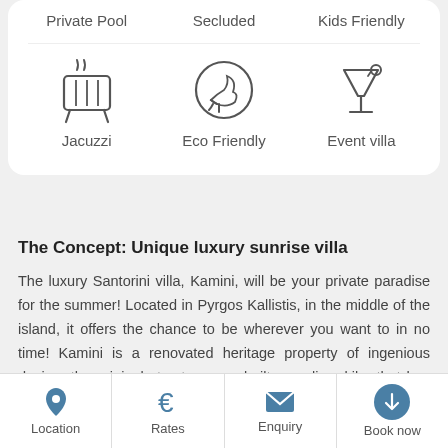[Figure (illustration): Three amenity icons in a row: Jacuzzi (hot tub icon), Eco Friendly (leaf in hand icon), Event villa (cocktail glass icon), with labels beneath each]
The Concept: Unique luxury sunrise villa
The luxury Santorini villa, Kamini, will be your private paradise for the summer! Located in Pyrgos Kallistis, in the middle of the island, it offers the chance to be wherever you want to in no time! Kamini is a renovated heritage property of ingenious design; the original structure was built as a lime kiln, that has been restored and incorporated into the unique design of the
Location | Rates | Enquiry | Book now